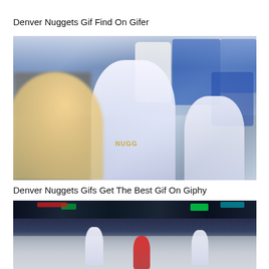Denver Nuggets Gif Find On Gifer
[Figure (photo): Basketball players in white Denver Nuggets uniforms on court with crowd in background, blurred action shot]
Denver Nuggets Gifs Get The Best Gif On Giphy
[Figure (photo): Wide arena shot of Denver Nuggets basketball game in progress, court level view with players]